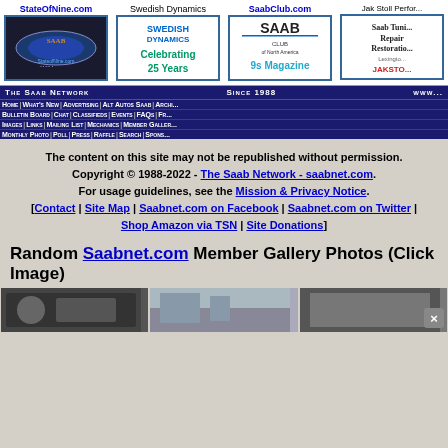[Figure (screenshot): Four banner advertisements in a row: StateOfNine.com SAAB Accessories, Swedish Dynamics Celebrating 25 Years, SaabClub.com of North America 9s Magazine, Jak Stoll Performance Saab Tuning Repair Restoration Lexington]
[Figure (screenshot): The Saab Network navigation bar with links: Home, What's New, Advertising, Alt Autos Saab, Archives, Bulletin Board, Chat, Classifieds, Events, FAQs, Free Ads, Images, Links, Mailing List, Mechanics, Member Gallery, Monthly Photo, Poll, Press, Raffle, Search, Sponsors]
The content on this site may not be republished without permission. Copyright © 1988-2022 - The Saab Network - saabnet.com. For usage guidelines, see the Mission & Privacy Notice. [Contact | Site Map | Saabnet.com on Facebook | Saabnet.com on Twitter | Shop Amazon via TSN | Site Donations]
Random Saabnet.com Member Gallery Photos (Click Image)
[Figure (photo): Three random member gallery photos shown in a horizontal row]